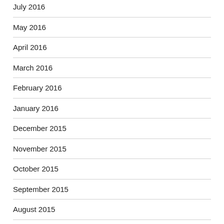July 2016
May 2016
April 2016
March 2016
February 2016
January 2016
December 2015
November 2015
October 2015
September 2015
August 2015
July 2015
June 2015
March 2015